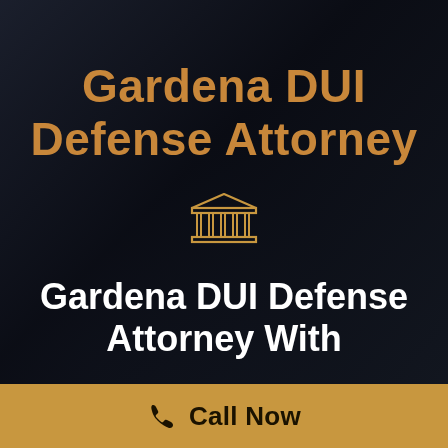Gardena DUI Defense Attorney
[Figure (illustration): Courthouse / pillars icon in gold/tan outline style]
Gardena DUI Defense Attorney With
Call Now